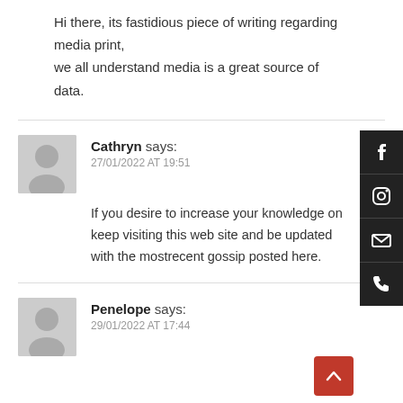Hi there, its fastidious piece of writing regarding media print, we all understand media is a great source of data.
Cathryn says:
27/01/2022 AT 19:51

If you desire to increase your knowledge on keep visiting this web site and be updated with the mostrecent gossip posted here.
Penelope says:
29/01/2022 AT 17:44